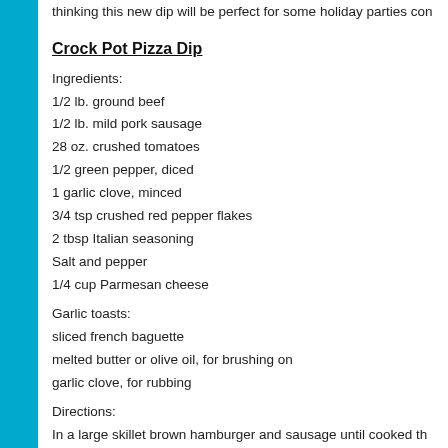thinking this new dip will be perfect for some holiday parties com
Crock Pot Pizza Dip
Ingredients:
1/2 lb. ground beef
1/2 lb. mild pork sausage
28 oz. crushed tomatoes
1/2 green pepper, diced
1 garlic clove, minced
3/4 tsp crushed red pepper flakes
2 tbsp Italian seasoning
Salt and pepper
1/4 cup Parmesan cheese
Garlic toasts:
sliced french baguette
melted butter or olive oil, for brushing on
garlic clove, for rubbing
Directions:
In a large skillet brown hamburger and sausage until cooked th
no longer pink. Drain and dump into crock pot. Add in crushed t